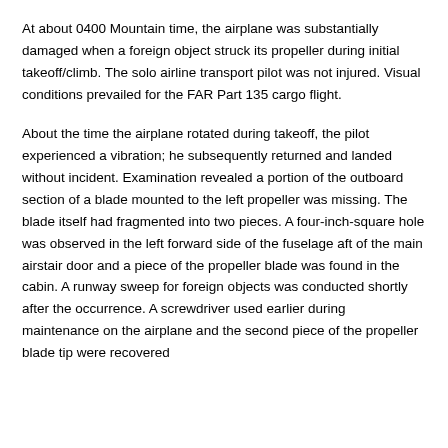At about 0400 Mountain time, the airplane was substantially damaged when a foreign object struck its propeller during initial takeoff/climb. The solo airline transport pilot was not injured. Visual conditions prevailed for the FAR Part 135 cargo flight.
About the time the airplane rotated during takeoff, the pilot experienced a vibration; he subsequently returned and landed without incident. Examination revealed a portion of the outboard section of a blade mounted to the left propeller was missing. The blade itself had fragmented into two pieces. A four-inch-square hole was observed in the left forward side of the fuselage aft of the main airstair door and a piece of the propeller blade was found in the cabin. A runway sweep for foreign objects was conducted shortly after the occurrence. A screwdriver used earlier during maintenance on the airplane and the second piece of the propeller blade tip were recovered